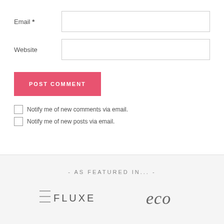Email *
Website
POST COMMENT
Notify me of new comments via email.
Notify me of new posts via email.
- AS FEATURED IN... -
[Figure (logo): FLUXE logo (stylized text with lines)]
[Figure (logo): eco logo in italic serif font]